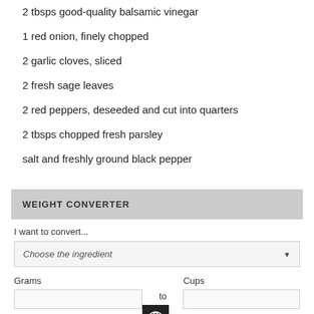2 tbsps good-quality balsamic vinegar
1 red onion, finely chopped
2 garlic cloves, sliced
2 fresh sage leaves
2 red peppers, deseeded and cut into quarters
2 tbsps chopped fresh parsley
salt and freshly ground black pepper
WEIGHT CONVERTER
I want to convert...
Choose the ingredient
Grams
to
Cups